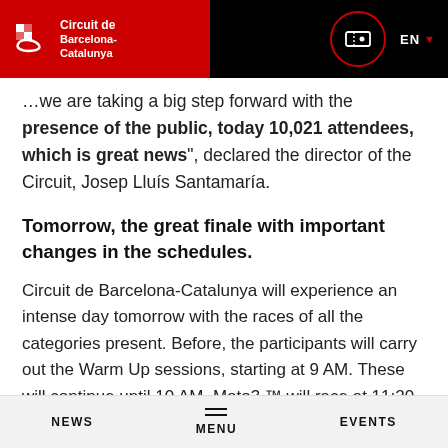Circuit de Barcelona-Catalunya | EN
...today, we are taking a big step forward with the presence of the public, today 10,021 attendees, which is great news", declared the director of the Circuit, Josep Lluís Santamaría.
Tomorrow, the great finale with important changes in the schedules.
Circuit de Barcelona-Catalunya will experience an intense day tomorrow with the races of all the categories present. Before, the participants will carry out the Warm Up sessions, starting at 9 AM. These will continue until 10 AM. Moto3 ™ will race at 11:20 AM, MotoGP ™ will race at 1:00 PM, Moto2 ™ at 2:30 PM and
NEWS  MENU  EVENTS